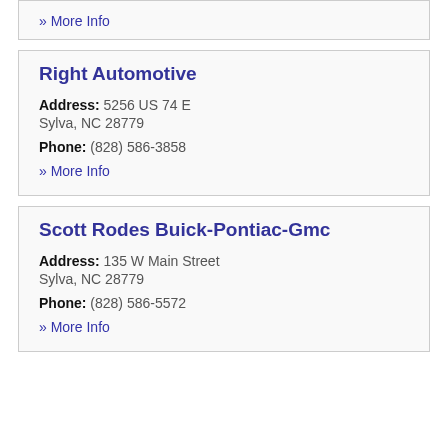» More Info
Right Automotive
Address: 5256 US 74 E
Sylva, NC 28779
Phone: (828) 586-3858
» More Info
Scott Rodes Buick-Pontiac-Gmc
Address: 135 W Main Street
Sylva, NC 28779
Phone: (828) 586-5572
» More Info